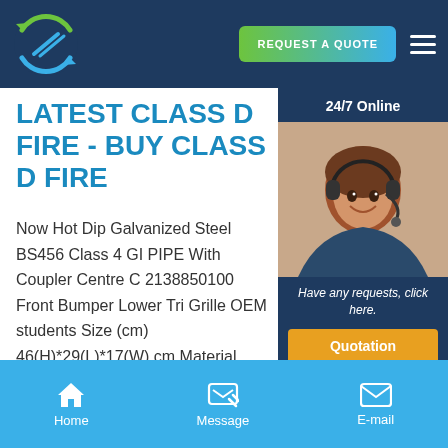[Figure (logo): Company logo: circular icon with green/blue arrows and diagonal lines on dark blue background]
REQUEST A QUOTE
LATEST CLASS D FIRE - BUY CLASS D FIRE
Now Hot Dip Galvanized Steel BS456 Class 4 GI PIPE With Coupler Centre C 2138850100 Front Bumper Lower Tri Grille OEM students Size (cm) 46(H)*29(L)*17(W) cm Material Polye ,accept
PRODUCT CATALOG
24/7 Online
[Figure (photo): Customer service representative woman wearing headset, smiling]
Have any requests, click here.
Quotation
Home
Message
E-mail